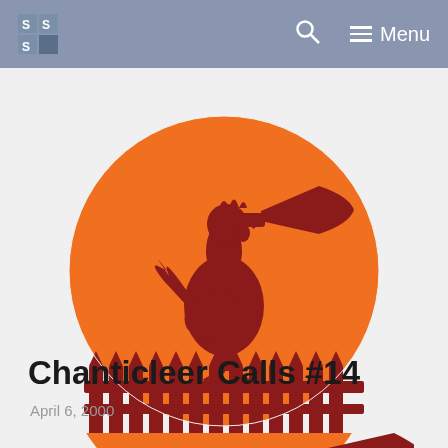SS Menu
[Figure (illustration): A rooster standing on a fence post blowing a megaphone/bugle, silhouetted in dark red against a large orange circle, on a light background]
Chanticleer Calls #14
April 6, 2000
[Figure (illustration): Partial view of same rooster with megaphone illustration, cropped at bottom of page]